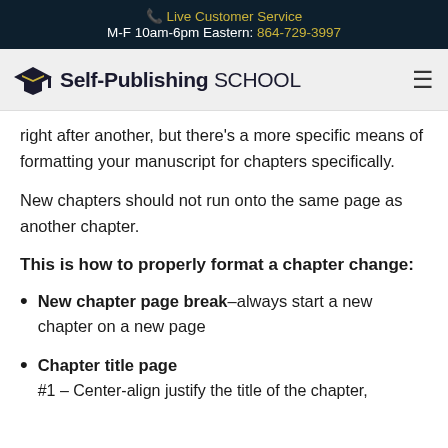Live Customer Service
M-F 10am-6pm Eastern: 864-729-3997
[Figure (logo): Self-Publishing School logo with graduation cap icon]
right after another, but there's a more specific means of formatting your manuscript for chapters specifically.
New chapters should not run onto the same page as another chapter.
This is how to properly format a chapter change:
New chapter page break–always start a new chapter on a new page
Chapter title page
#1 – Center-align justify the title of the chapter,